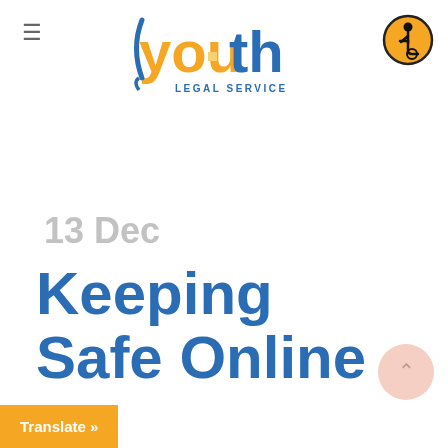[Figure (logo): Youth Legal Service logo with orange and blue text and bracket/parenthesis graphic]
[Figure (logo): Accessibility icon — person in wheelchair in orange circle with black border]
13 Dec
Keeping Safe Online
Translate »